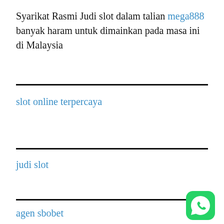Syarikat Rasmi Judi slot dalam talian mega888 banyak haram untuk dimainkan pada masa ini di Malaysia
slot online terpercaya
judi slot
agen sbobet